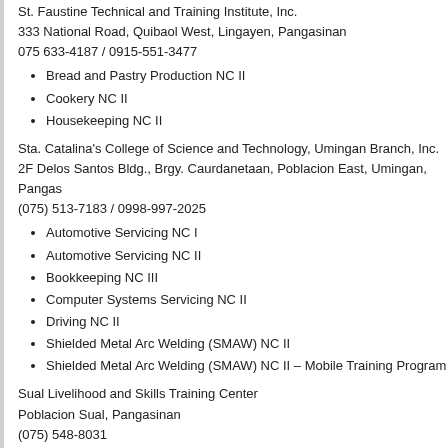St. Faustine Technical and Training Institute, Inc.
333 National Road, Quibaol West, Lingayen, Pangasinan
075 633-4187 / 0915-551-3477
Bread and Pastry Production NC II
Cookery NC II
Housekeeping NC II
Sta. Catalina's College of Science and Technology, Umingan Branch, Inc.
2F Delos Santos Bldg., Brgy. Caurdanetaan, Poblacion East, Umingan, Pangas
(075) 513-7183 / 0998-997-2025
Automotive Servicing NC I
Automotive Servicing NC II
Bookkeeping NC III
Computer Systems Servicing NC II
Driving NC II
Shielded Metal Arc Welding (SMAW) NC II
Shielded Metal Arc Welding (SMAW) NC II – Mobile Training Program
Sual Livelihood and Skills Training Center
Poblacion Sual, Pangasinan
(075) 548-8031